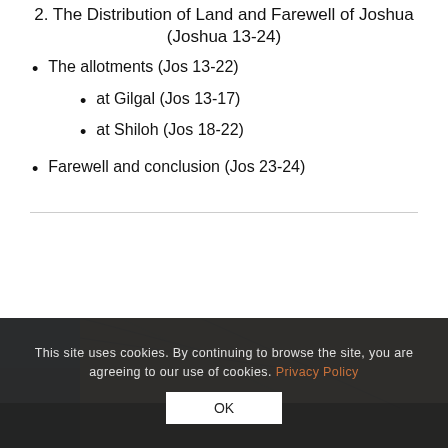2. The Distribution of Land and Farewell of Joshua (Joshua 13-24)
The allotments (Jos 13-22)
at Gilgal (Jos 13-17)
at Shiloh (Jos 18-22)
Farewell and conclusion (Jos 23-24)
[Figure (map): Partial view of a historical map, mostly obscured by cookie consent overlay]
This site uses cookies. By continuing to browse the site, you are agreeing to our use of cookies. Privacy Policy OK